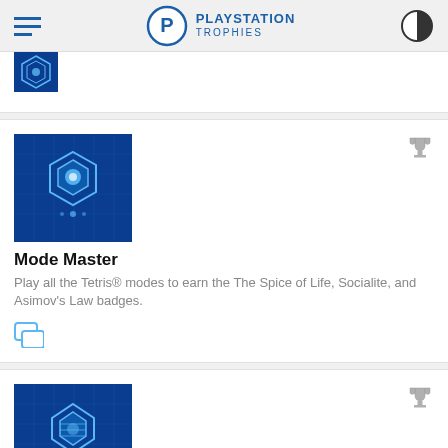PLAYSTATION TROPHIES
[Figure (illustration): Partial PlayStation trophy card from previous entry, showing blue badge icon at top]
Mode Master
Play all the Tetris® modes to earn the The Spice of Life, Socialite, and Asimov's Law badges.
Dedicated
Earn the Longevity, Crushed it!, and Mt Olympus badges, but then go play outside.